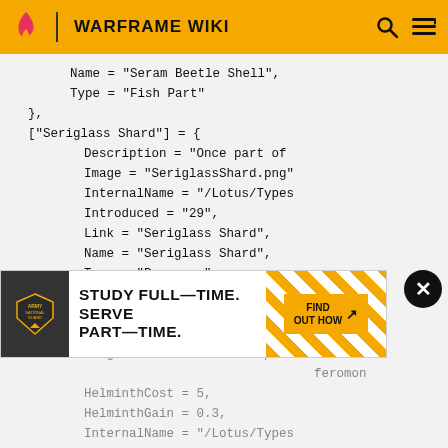WARFRAME WIKI
Name = "Seram Beetle Shell",
    Type = "Fish Part"
},
["Seriglass Shard"] = {
        Description = "Once part of
        Image = "SeriglassShard.png"
        InternalName = "/Lotus/Types
        Introduced = "29",
        Link = "Seriglass Shard",
        Name = "Seriglass Shard",
        Type = "Resource"
},
["Severed Bile Sac"] = {
        Description = "A grizzly
        Image = "SeveredBileSac.p
                            										feromon
        HelminthCost = 5,
        HelminthGain = 0.3,
        InternalName = "/Lotus/Types
        Introduced = "16.7",
[Figure (screenshot): Army National Guard advertisement: STUDY FULL-TIME. SERVE PART-TIME. with FIND OUT HOW button and yellow stripe graphic]